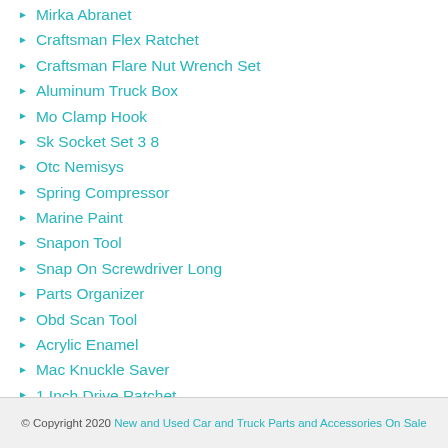Mirka Abranet
Craftsman Flex Ratchet
Craftsman Flare Nut Wrench Set
Aluminum Truck Box
Mo Clamp Hook
Sk Socket Set 3 8
Otc Nemisys
Spring Compressor
Marine Paint
Snapon Tool
Snap On Screwdriver Long
Parts Organizer
Obd Scan Tool
Acrylic Enamel
Mac Knuckle Saver
1 Inch Drive Ratchet
Clearcoat Spray
Sata Gun
© Copyright 2020 New and Used Car and Truck Parts and Accessories On Sale